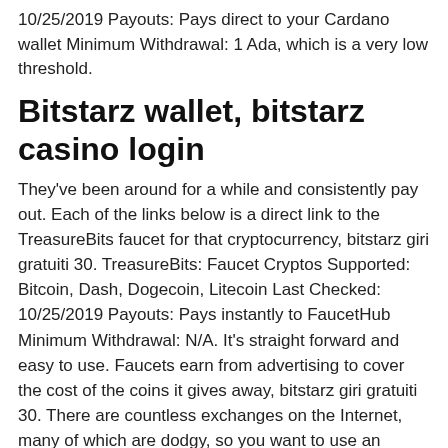10/25/2019 Payouts: Pays direct to your Cardano wallet Minimum Withdrawal: 1 Ada, which is a very low threshold.
Bitstarz wallet, bitstarz casino login
They've been around for a while and consistently pay out. Each of the links below is a direct link to the TreasureBits faucet for that cryptocurrency, bitstarz giri gratuiti 30. TreasureBits: Faucet Cryptos Supported: Bitcoin, Dash, Dogecoin, Litecoin Last Checked: 10/25/2019 Payouts: Pays instantly to FaucetHub Minimum Withdrawal: N/A. It's straight forward and easy to use. Faucets earn from advertising to cover the cost of the coins it gives away, bitstarz giri gratuiti 30. There are countless exchanges on the Internet, many of which are dodgy, so you want to use an exchange that you can trust to keep your bag and your banking